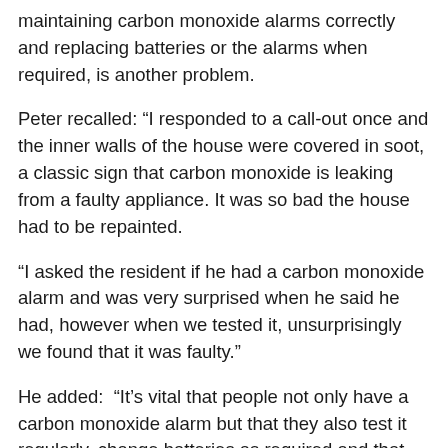maintaining carbon monoxide alarms correctly and replacing batteries or the alarms when required, is another problem.
Peter recalled: “I responded to a call-out once and the inner walls of the house were covered in soot, a classic sign that carbon monoxide is leaking from a faulty appliance. It was so bad the house had to be repainted.
“I asked the resident if he had a carbon monoxide alarm and was very surprised when he said he had, however when we tested it, unsurprisingly we found that it was faulty.”
He added:  “It’s vital that people not only have a carbon monoxide alarm but that they also test it regularly, change batteries as required and that